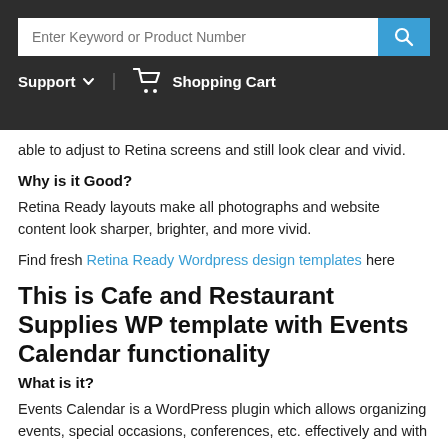Enter Keyword or Product Number | Support | Shopping Cart
able to adjust to Retina screens and still look clear and vivid.
Why is it Good?
Retina Ready layouts make all photographs and website content look sharper, brighter, and more vivid.
Find fresh Retina Ready Wordpress design templates here
This is Cafe and Restaurant Supplies WP template with Events Calendar functionality
What is it?
Events Calendar is a WordPress plugin which allows organizing events, special occasions, conferences, etc. effectively and with ease.
Why is it Good?